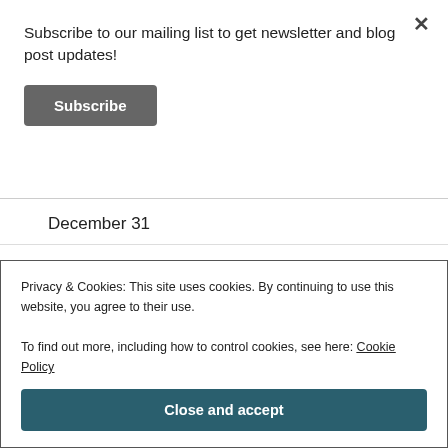Subscribe to our mailing list to get newsletter and blog post updates!
Subscribe
December 31
National Champagne Day
Make Up Your Mind Day
New Years Eve
No Interruptions Day, Last Work Day of the Year
Privacy & Cookies: This site uses cookies. By continuing to use this website, you agree to their use.
To find out more, including how to control cookies, see here: Cookie Policy
Close and accept